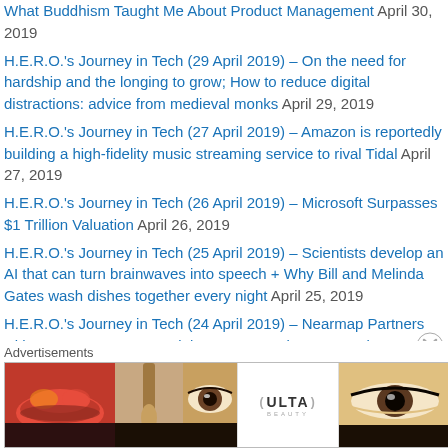What Buddhism Taught Me About Product Management April 30, 2019
H.E.R.O.'s Journey in Tech (29 April 2019) – On the need for hardship and the longing to grow; How to reduce digital distractions: advice from medieval monks April 29, 2019
H.E.R.O.'s Journey in Tech (27 April 2019) – Amazon is reportedly building a high-fidelity music streaming service to rival Tidal April 27, 2019
H.E.R.O.'s Journey in Tech (26 April 2019) – Microsoft Surpasses $1 Trillion Valuation April 26, 2019
H.E.R.O.'s Journey in Tech (25 April 2019) – Scientists develop an AI that can turn brainwaves into speech + Why Bill and Melinda Gates wash dishes together every night April 25, 2019
H.E.R.O.'s Journey in Tech (24 April 2019) – Nearmap Partners with HNTB to Use 3-D Aerial Imagery to Win More Business Against Larger Competitors April 24, 2019
H.E.R.O.'s Journey in Tech (23 April 2019) – Nearmap doubles
Advertisements
[Figure (other): ULTA beauty advertisement banner showing makeup imagery, ULTA logo, and SHOP NOW call to action]